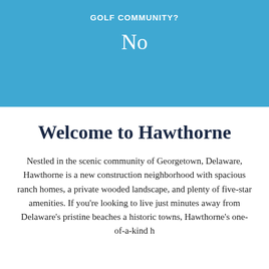GOLF COMMUNITY?
No
Welcome to Hawthorne
Nestled in the scenic community of Georgetown, Delaware, Hawthorne is a new construction neighborhood with spacious ranch homes, a private wooded landscape, and plenty of five-star amenities. If you're looking to live just minutes away from Delaware's pristine beaches a historic towns, Hawthorne's one-of-a-kind h